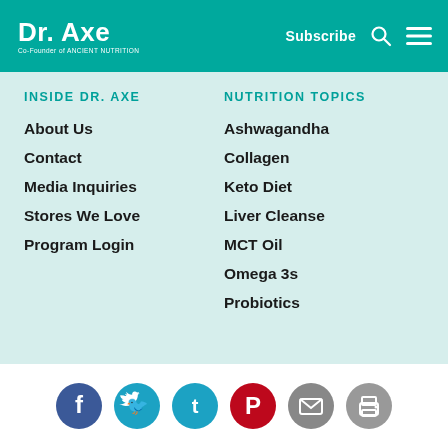Dr. Axe | Co-Founder of Ancient Nutrition | Subscribe
INSIDE DR. AXE
About Us
Contact
Media Inquiries
Stores We Love
Program Login
NUTRITION TOPICS
Ashwagandha
Collagen
Keto Diet
Liver Cleanse
MCT Oil
Omega 3s
Probiotics
[Figure (illustration): Social media icons: Facebook, Twitter, Pinterest, Email, Print]